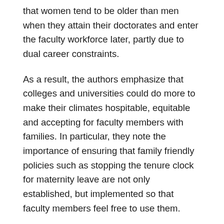that women tend to be older than men when they attain their doctorates and enter the faculty workforce later, partly due to dual career constraints.
As a result, the authors emphasize that colleges and universities could do more to make their climates hospitable, equitable and accepting for faculty members with families. In particular, they note the importance of ensuring that family friendly policies such as stopping the tenure clock for maternity leave are not only established, but implemented so that faculty members feel free to use them.
Another variable the UC Berkeley report considers is the fact that decisions about promotion are based upon evidence presented and judgment made about that evidence. Since no mechanical process exists to translate the evidence into outcomes, judgments of merit are vulnerable to positive and negative implicit associations that can be triggered by factors such as gender, both these associations can be...